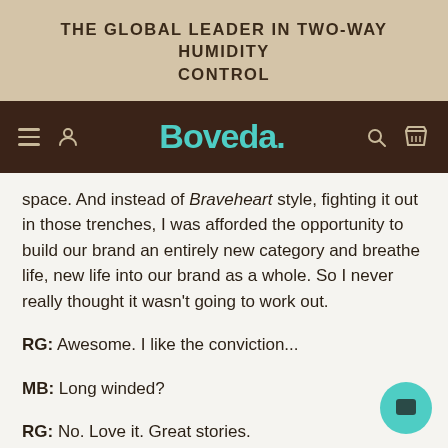THE GLOBAL LEADER IN TWO-WAY HUMIDITY CONTROL
[Figure (logo): Boveda brand navigation bar with hamburger menu, user icon, Boveda logo in teal, search icon, and box icon on dark brown background]
space. And instead of Braveheart style, fighting it out in those trenches, I was afforded the opportunity to build our brand an entirely new category and breathe life, new life into our brand as a whole. So I never really thought it wasn't going to work out.
RG: Awesome. I like the conviction...
MB: Long winded?
RG: No. Love it. Great stories.